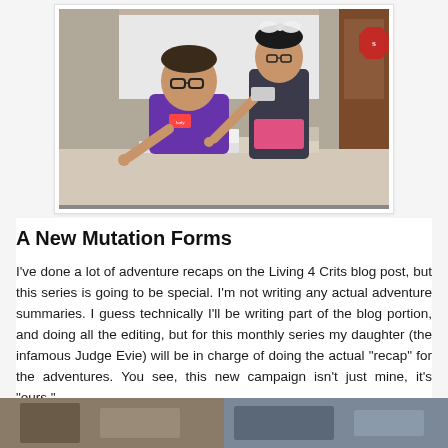[Figure (photo): A man in a purple shirt sitting at a table pointing at the camera, and a girl standing behind him also pointing. There are books and papers on the table. A whiteboard and a stop sign are visible in the background.]
A New Mutation Forms
I've done a lot of adventure recaps on the Living 4 Crits blog post, but this series is going to be special. I'm not writing any actual adventure summaries. I guess technically I'll be writing part of the blog portion, and doing all the editing, but for this monthly series my daughter (the infamous Judge Evie) will be in charge of doing the actual "recap" for the adventures. You see, this new campaign isn't just mine, it's "ours."
[Figure (photo): Two partial photos at the bottom of the page, partially cut off.]